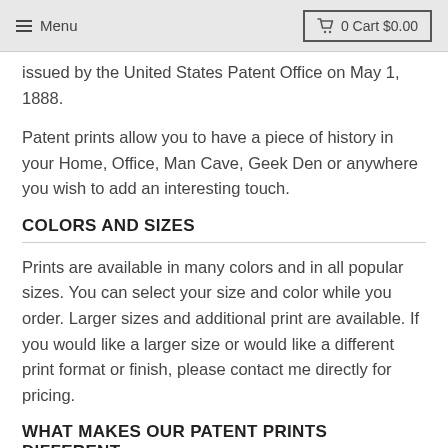Menu  0 Cart $0.00
issued by the United States Patent Office on May 1, 1888.
Patent prints allow you to have a piece of history in your Home, Office, Man Cave, Geek Den or anywhere you wish to add an interesting touch.
COLORS AND SIZES
Prints are available in many colors and in all popular sizes. You can select your size and color while you order. Larger sizes and additional print are available. If you would like a larger size or would like a different print format or finish, please contact me directly for pricing.
WHAT MAKES OUR PATENT PRINTS DIFFERENT